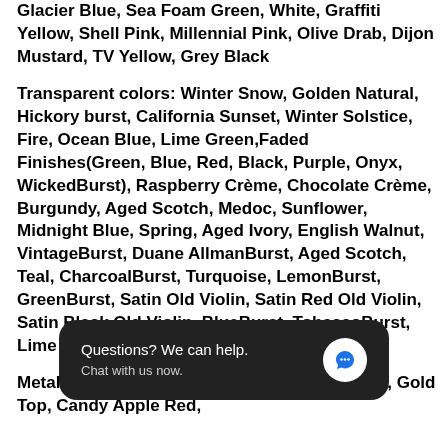Glacier Blue, Sea Foam Green, White, Graffiti Yellow, Shell Pink, Millennial Pink, Olive Drab, Dijon Mustard, TV Yellow, Grey Black

Transparent colors: Winter Snow, Golden Natural, Hickory burst, California Sunset, Winter Solstice, Fire, Ocean Blue, Lime Green,Faded Finishes(Green, Blue, Red, Black, Purple, Onyx, WickedBurst), Raspberry Crème, Chocolate Crème, Burgundy, Aged Scotch, Medoc, Sunflower, Midnight Blue, Spring, Aged Ivory, English Walnut, VintageBurst, Duane AllmanBurst, Aged Scotch, Teal, CharcoalBurst, Turquoise, LemonBurst, GreenBurst, Satin Old Violin, Satin Red Old Violin, Satin Black Old Violin, BlueBurst, TobaccoBurst, Lime Green, O...

Metallic ... Copper, Black Gold, Gold Top, Candy Apple Red,
[Figure (screenshot): Chat widget overlay: dark rounded rectangle with text 'Questions? We can help.' and 'Chat with us now.' with a blue speech bubble icon on the right.]